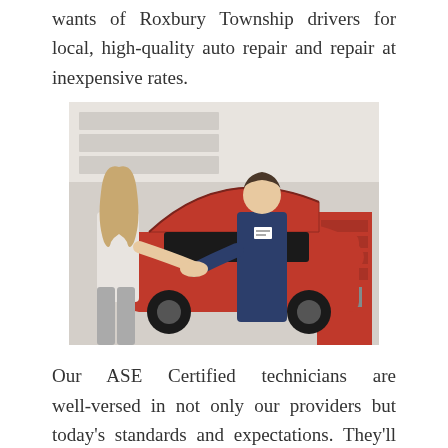wants of Roxbury Township drivers for local, high-quality auto repair and repair at inexpensive rates.
[Figure (photo): A woman with long blonde hair in a white top shaking hands with a male mechanic in a navy blue coverall uniform inside an auto repair garage. A red car with the hood open is visible in the background along with a tool chest and diagnostic equipment.]
Our ASE Certified technicians are well-versed in not only our providers but today's standards and expectations. They'll utilize the latest instruments and service methods to make sure your car receives the auto